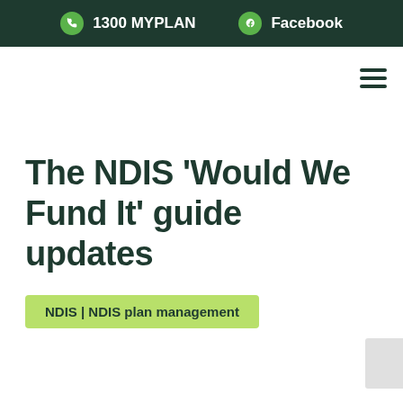1300 MYPLAN   Facebook
The NDIS ‘Would We Fund It’ guide updates
NDIS | NDIS plan management